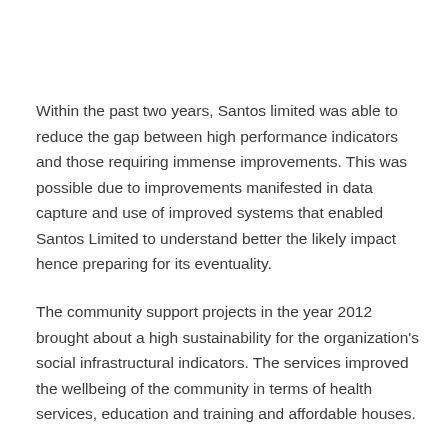Within the past two years, Santos limited was able to reduce the gap between high performance indicators and those requiring immense improvements. This was possible due to improvements manifested in data capture and use of improved systems that enabled Santos Limited to understand better the likely impact hence preparing for its eventuality.
The community support projects in the year 2012 brought about a high sustainability for the organization's social infrastructural indicators. The services improved the wellbeing of the community in terms of health services, education and training and affordable houses.